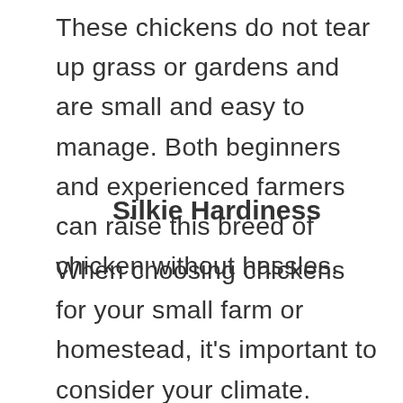These chickens do not tear up grass or gardens and are small and easy to manage. Both beginners and experienced farmers can raise this breed of chicken without hassles.
Silkie Hardiness
When choosing chickens for your small farm or homestead, it’s important to consider your climate. While all chickens need shelter, some will do better in colder climates than others. A Silkie will do best in a